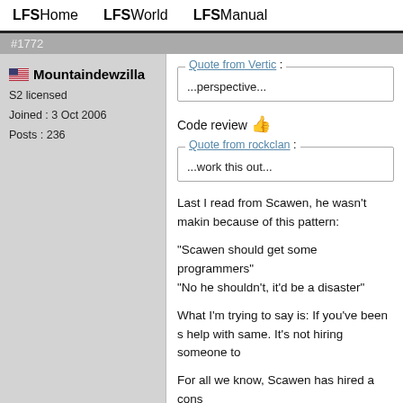LFSHome   LFSWorld   LFSManual
#1772
Mountaindewzilla
S2 licensed
Joined : 3 Oct 2006
Posts : 236
Quote from Vertic : ...perspective...
Code review 👍
Quote from rockclan : ...work this out...
Last I read from Scawen, he wasn't makin because of this pattern:
"Scawen should get some programmers"
"No he shouldn't, it'd be a disaster"
What I'm trying to say is: If you've been s help with same. It's not hiring someone to
For all we know, Scawen has hired a cons